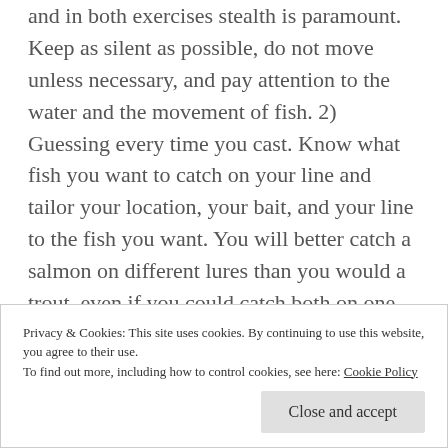and in both exercises stealth is paramount. Keep as silent as possible, do not move unless necessary, and pay attention to the water and the movement of fish. 2) Guessing every time you cast. Know what fish you want to catch on your line and tailor your location, your bait, and your line to the fish you want. You will better catch a salmon on different lures than you would a trout, even if you could catch both on one lure.
3) Showing up at imprecise times. There are periods
Privacy & Cookies: This site uses cookies. By continuing to use this website, you agree to their use. To find out more, including how to control cookies, see here: Cookie Policy
Close and accept
4) Ignoring the weather. Pressure caused by moving